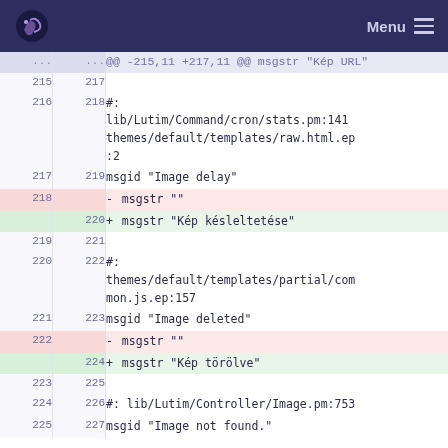Menu
| old | new | code |
| --- | --- | --- |
| ... | ... | @@ -215,11 +217,11 @@ msgstr "Kép URL" |
| 215 | 217 |  |
| 216 | 218 | #: lib/Lutim/Command/cron/stats.pm:141 themes/default/templates/raw.html.ep:2 |
| 217 | 219 | msgid "Image delay" |
| 218 |  | - msgstr "" |
|  | 220 | + msgstr "Kép késleltetése" |
| 219 | 221 |  |
| 220 | 222 | #: themes/default/templates/partial/common.js.ep:157 |
| 221 | 223 | msgid "Image deleted" |
| 222 |  | - msgstr "" |
|  | 224 | + msgstr "Kép törölve" |
| 223 | 225 |  |
| 224 | 226 | #: lib/Lutim/Controller/Image.pm:753 |
| 225 | 227 | msgid "Image not found." |